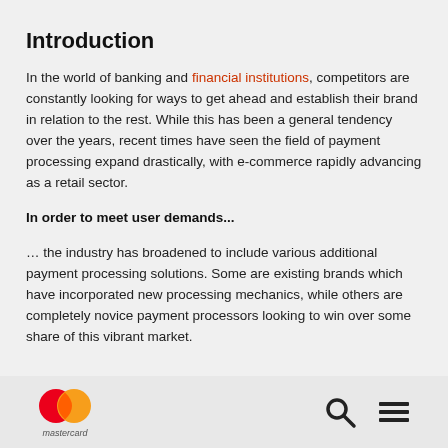Introduction
In the world of banking and financial institutions, competitors are constantly looking for ways to get ahead and establish their brand in relation to the rest. While this has been a general tendency over the years, recent times have seen the field of payment processing expand drastically, with e-commerce rapidly advancing as a retail sector.
In order to meet user demands...
… the industry has broadened to include various additional payment processing solutions. Some are existing brands which have incorporated new processing mechanics, while others are completely novice payment processors looking to win over some share of this vibrant market.
[Figure (logo): Mastercard logo with red and orange overlapping circles and 'mastercard' text below, plus search icon and hamburger menu icon]